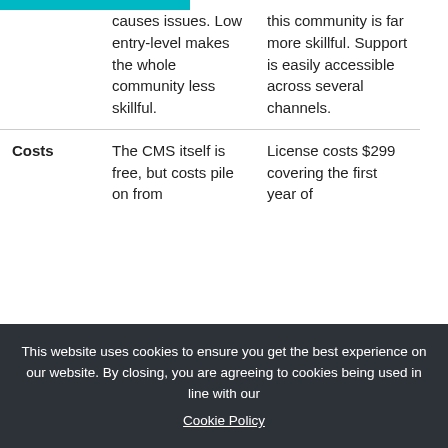|  | Con | Pro |
| --- | --- | --- |
|  | causes issues. Low entry-level makes the whole community less skillful. | this community is far more skillful. Support is easily accessible across several channels. |
| Costs | The CMS itself is free, but costs pile on from | License costs $299 covering the first year of |
This website uses cookies to ensure you get the best experience on our website. By closing, you are agreeing to cookies being used in line with our Cookie Policy